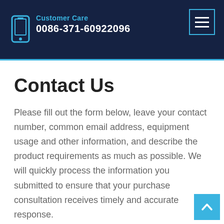Customer Care
0086-371-60922096
Contact Us
Please fill out the form below, leave your contact number, common email address, equipment usage and other information, and describe the product requirements as much as possible. We will quickly process the information you submitted to ensure that your purchase consultation receives timely and accurate response.